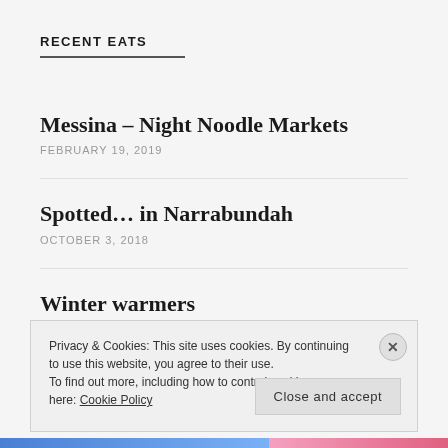RECENT EATS
Messina – Night Noodle Markets
FEBRUARY 19, 2019
Spotted… in Narrabundah
OCTOBER 3, 2018
Winter warmers
JUNE 2, 2018
Privacy & Cookies: This site uses cookies. By continuing to use this website, you agree to their use. To find out more, including how to control cookies, see here: Cookie Policy
Close and accept